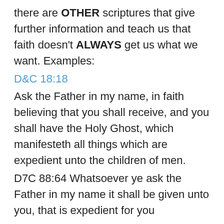there are OTHER scriptures that give further information and teach us that faith doesn't ALWAYS get us what we want. Examples:
D&C 18:18
Ask the Father in my name, in faith believing that you shall receive, and you shall have the Holy Ghost, which manifesteth all things which are expedient unto the children of men.
D7C 88:64 Whatsoever ye ask the Father in my name it shall be given unto you, that is expedient for you
(And for both of those, it's GOD's opinion of what's “expedient”, not ours)
D7C 122:7 “If thou be cast into the deep; if the billowing surge conspire against thee; if fierce winds become thine enemy; if the heavens gather blackness, and all the elements combine to hedge up the way; …